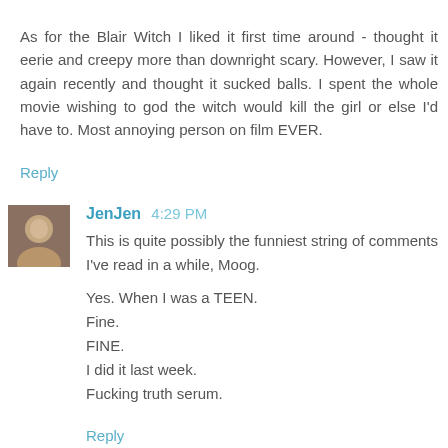As for the Blair Witch I liked it first time around - thought it eerie and creepy more than downright scary. However, I saw it again recently and thought it sucked balls. I spent the whole movie wishing to god the witch would kill the girl or else I'd have to. Most annoying person on film EVER.
Reply
JenJen 4:29 PM
This is quite possibly the funniest string of comments I've read in a while, Moog.

Yes. When I was a TEEN.
Fine.
FINE.
I did it last week.
Fucking truth serum.
Reply
Jenny the Bloggess 5:08 PM